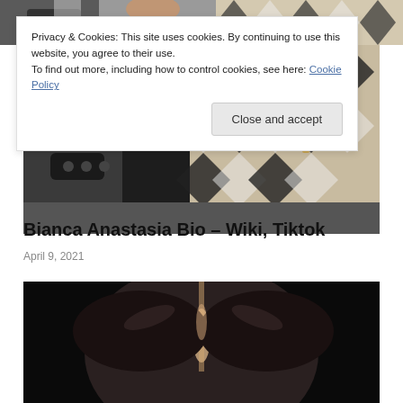[Figure (photo): Top partial photo strip showing a person wearing a patterned outfit near a car interior]
Privacy & Cookies: This site uses cookies. By continuing to use this website, you agree to their use.
To find out more, including how to control cookies, see here: Cookie Policy
Close and accept
[Figure (photo): Person wearing black and white patterned outfit near car interior]
Bianca Anastasia Bio – Wiki, Tiktok
April 9, 2021
[Figure (photo): Close-up photo of a person with dark hair pulled back, top of head visible against dark background]